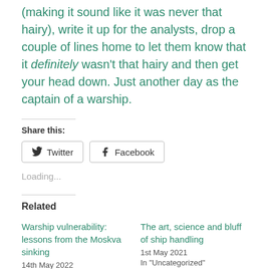(making it sound like it was never that hairy), write it up for the analysts, drop a couple of lines home to let them know that it definitely wasn't that hairy and then get your head down. Just another day as the captain of a warship.
Share this:
Twitter  Facebook
Loading...
Related
Warship vulnerability: lessons from the Moskva sinking
14th May 2022
In "Uncategorized"
The art, science and bluff of ship handling
1st May 2021
In "Uncategorized"